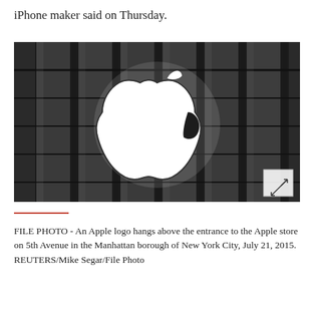iPhone maker said on Thursday.
[Figure (photo): Apple logo illuminated in white hanging above the entrance to the Apple store on 5th Avenue, Manhattan, New York City. Dark architectural glass facade visible behind the logo. A small expand/fullscreen icon button appears in the bottom-right corner of the image.]
FILE PHOTO - An Apple logo hangs above the entrance to the Apple store on 5th Avenue in the Manhattan borough of New York City, July 21, 2015. REUTERS/Mike Segar/File Photo